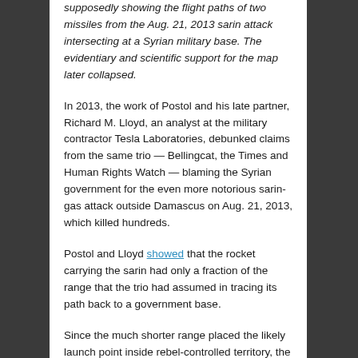supposedly showing the flight paths of two missiles from the Aug. 21, 2013 sarin attack intersecting at a Syrian military base. The evidentiary and scientific support for the map later collapsed.
In 2013, the work of Postol and his late partner, Richard M. Lloyd, an analyst at the military contractor Tesla Laboratories, debunked claims from the same trio — Bellingcat, the Times and Human Rights Watch — blaming the Syrian government for the even more notorious sarin-gas attack outside Damascus on Aug. 21, 2013, which killed hundreds.
Postol and Lloyd showed that the rocket carrying the sarin had only a fraction of the range that the trio had assumed in tracing its path back to a government base.
Since the much shorter range placed the likely launch point inside rebel-controlled territory, the incident appeared to have been another false-flag